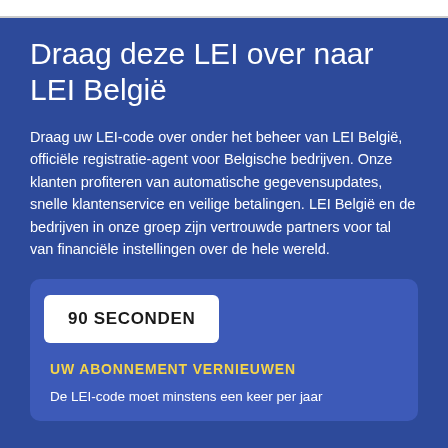Draag deze LEI over naar LEI België
Draag uw LEI-code over onder het beheer van LEI België, officiële registratie-agent voor Belgische bedrijven. Onze klanten profiteren van automatische gegevensupdates, snelle klantenservice en veilige betalingen. LEI België en de bedrijven in onze groep zijn vertrouwde partners voor tal van financiële instellingen over de hele wereld.
90 SECONDEN
UW ABONNEMENT VERNIEUWEN
De LEI-code moet minstens een keer per jaar